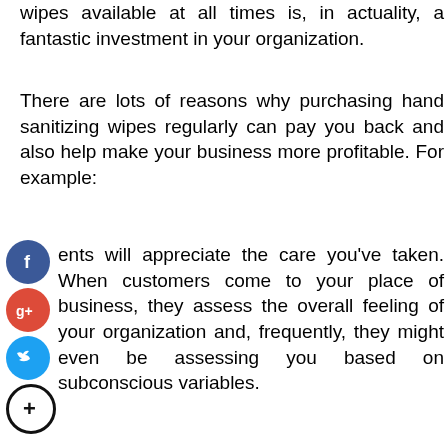wipes available at all times is, in actuality, a fantastic investment in your organization.
There are lots of reasons why purchasing hand sanitizing wipes regularly can pay you back and also help make your business more profitable. For example:
Clients will appreciate the care you've taken. When customers come to your place of business, they assess the overall feeling of your organization and, frequently, they might even be assessing you based on subconscious variables.